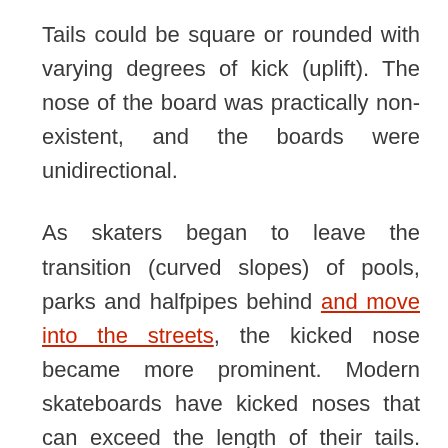Tails could be square or rounded with varying degrees of kick (uplift). The nose of the board was practically non-existent, and the boards were unidirectional.
As skaters began to leave the transition (curved slopes) of pools, parks and halfpipes behind and move into the streets, the kicked nose became more prominent. Modern skateboards have kicked noses that can exceed the length of their tails. They can be ridden in either direction (regular or switch), and